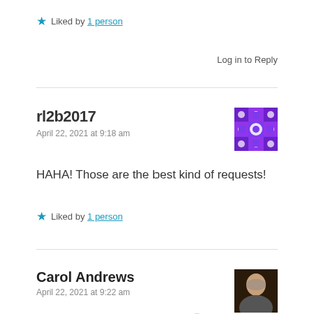★ Liked by 1 person
Log in to Reply
rl2b2017
April 22, 2021 at 9:18 am
[Figure (illustration): Purple geometric avatar for rl2b2017]
HAHA! Those are the best kind of requests!
★ Liked by 1 person
Carol Andrews
April 22, 2021 at 9:22 am
[Figure (photo): Profile photo of Carol Andrews]
I think I've created a monster 🙁